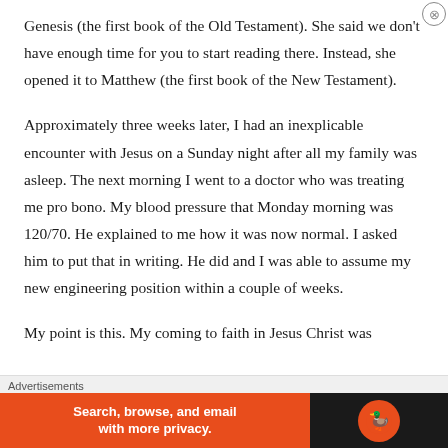Genesis (the first book of the Old Testament). She said we don't have enough time for you to start reading there. Instead, she opened it to Matthew (the first book of the New Testament).
Approximately three weeks later, I had an inexplicable encounter with Jesus on a Sunday night after all my family was asleep. The next morning I went to a doctor who was treating me pro bono. My blood pressure that Monday morning was 120/70. He explained to me how it was now normal. I asked him to put that in writing. He did and I was able to assume my new engineering position within a couple of weeks.
My point is this. My coming to faith in Jesus Christ was
Advertisements